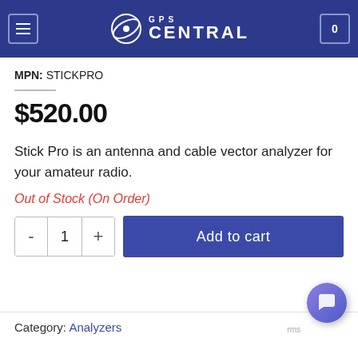GPS Central
MPN: STICKPRO
$520.00
Stick Pro is an antenna and cable vector analyzer for your amateur radio.
Out of Stock (On Order)
Category: Analyzers